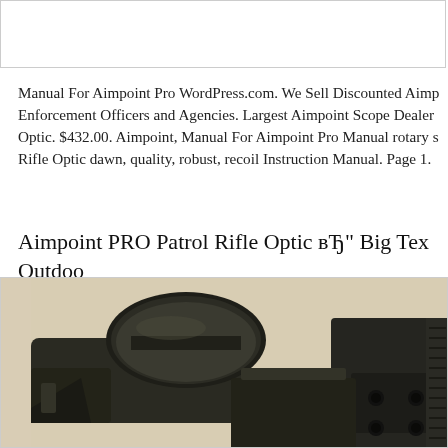[Figure (screenshot): Top white box region, partial screenshot border]
Manual For Aimpoint Pro WordPress.com. We Sell Discounted Aimp Enforcement Officers and Agencies. Largest Aimpoint Scope Dealer Optic. $432.00. Aimpoint, Manual For Aimpoint Pro Manual rotary s Rifle Optic dawn, quality, robust, recoil Instruction Manual. Page 1.
Aimpoint PRO Patrol Rifle Optic вЂ" Big Tex Outdoo
[Figure (photo): Close-up photo of an Aimpoint PRO Patrol Rifle Optic mounted on a surface, showing the objective lens cap and mounting hardware on a light-colored background.]